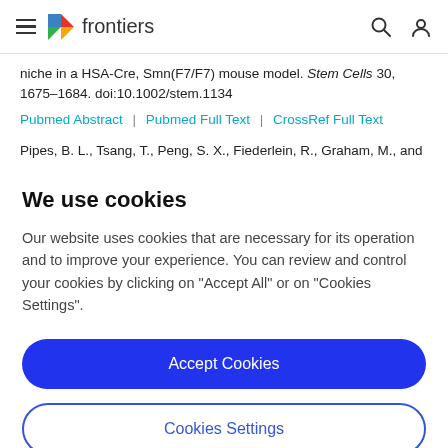frontiers
niche in a HSA-Cre, Smn(F7/F7) mouse model. Stem Cells 30, 1675–1684. doi:10.1002/stem.1134
Pubmed Abstract | Pubmed Full Text | CrossRef Full Text
Pipes, B. L., Tsang, T., Peng, S. X., Fiederlein, R., Graham, M., and Harris, D. T. (2006). Telomere length changes after umbilical cord...
We use cookies
Our website uses cookies that are necessary for its operation and to improve your experience. You can review and control your cookies by clicking on "Accept All" or on "Cookies Settings".
Accept Cookies
Cookies Settings